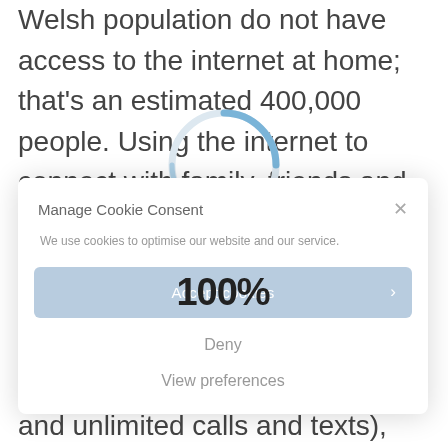Welsh population do not have access to the internet at home; that's an estimated 400,000 people. Using the internet to connect with family, friends and online support and information is something that many of us take for granted. With the donation of a device and 12 months of free data from O2 (6GB per month and unlimited calls and texts), the Community Calling
[Figure (illustration): A loading spinner arc in blue/grey tones overlaying the background text and modal]
Manage Cookie Consent
We use cookies to optimise our website and our service.
Accept cookies ›
100%
Deny
View preferences